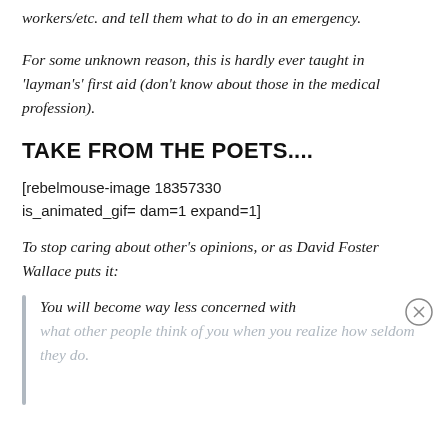workers/etc. and tell them what to do in an emergency.
For some unknown reason, this is hardly ever taught in 'layman's' first aid (don't know about those in the medical profession).
TAKE FROM THE POETS....
[rebelmouse-image 18357330 is_animated_gif= dam=1 expand=1]
To stop caring about other's opinions, or as David Foster Wallace puts it:
You will become way less concerned with what other people think of you when you realize how seldom they do.